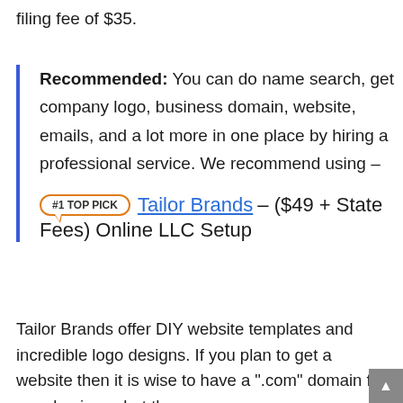filing fee of $35.
Recommended: You can do name search, get company logo, business domain, website, emails, and a lot more in one place by hiring a professional service. We recommend using –
#1 TOP PICK  Tailor Brands – ($49 + State Fees) Online LLC Setup
Tailor Brands offer DIY website templates and incredible logo designs. If you plan to get a website then it is wise to have a ".com" domain for your business but these